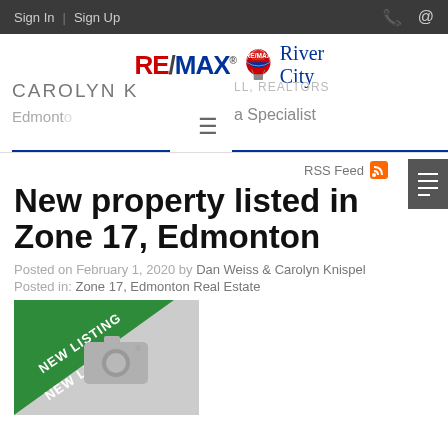Sign In | Sign Up
[Figure (logo): RE/MAX River City logo with hot air balloon]
CAROLYN K, Edmonton - LL, REALTORS - a Specialist
RSS Feed
New property listed in Zone 17, Edmonton
Posted on February 1, 2020 by Dan Weiss & Carolyn Knispel
Posted in: Zone 17, Edmonton Real Estate
[Figure (photo): New listing placeholder image with camera icon and green NEW LISTING banner]